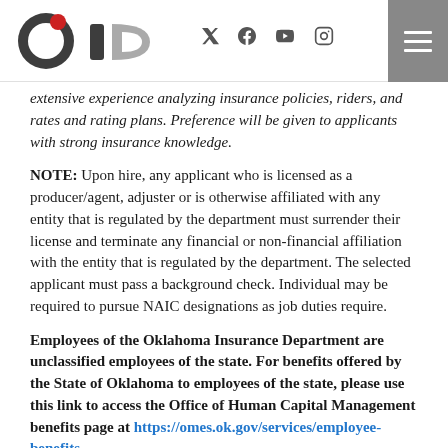OID logo with social media icons (Twitter, Facebook, YouTube, Instagram) and hamburger menu
extensive experience analyzing insurance policies, riders, and rates and rating plans. Preference will be given to applicants with strong insurance knowledge.
NOTE: Upon hire, any applicant who is licensed as a producer/agent, adjuster or is otherwise affiliated with any entity that is regulated by the department must surrender their license and terminate any financial or non-financial affiliation with the entity that is regulated by the department. The selected applicant must pass a background check. Individual may be required to pursue NAIC designations as job duties require.
Employees of the Oklahoma Insurance Department are unclassified employees of the state. For benefits offered by the State of Oklahoma to employees of the state, please use this link to access the Office of Human Capital Management benefits page at https://omes.ok.gov/services/employee-benefits
EEO/AA